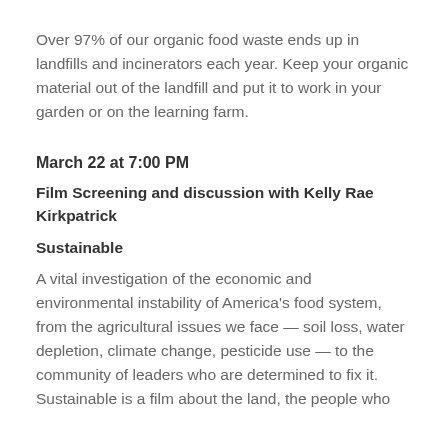Over 97% of our organic food waste ends up in landfills and incinerators each year. Keep your organic material out of the landfill and put it to work in your garden or on the learning farm.
March 22 at 7:00 PM
Film Screening and discussion with Kelly Rae Kirkpatrick
Sustainable
A vital investigation of the economic and environmental instability of America's food system, from the agricultural issues we face — soil loss, water depletion, climate change, pesticide use — to the community of leaders who are determined to fix it. Sustainable is a film about the land, the people who